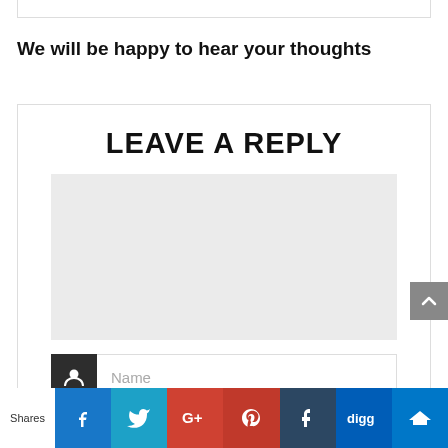We will be happy to hear your thoughts
LEAVE A REPLY
Name (input field)
Shares (social sharing bar: Facebook, Twitter, Google+, Pinterest, Tumblr, Digg, Mix)